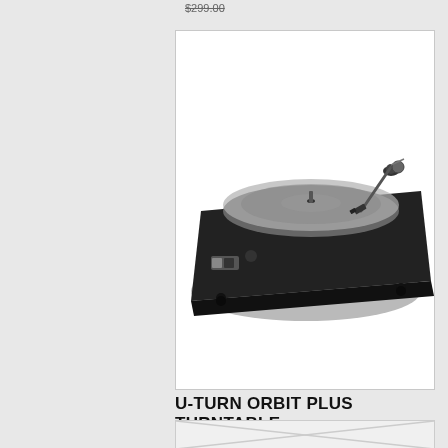$299.00
[Figure (photo): U-Turn Orbit Plus Turntable product photo on white background showing a black turntable with acrylic platter, tonearm, and speed selector switch]
U-TURN ORBIT PLUS TURNTABLE
$309.00 From $309.98